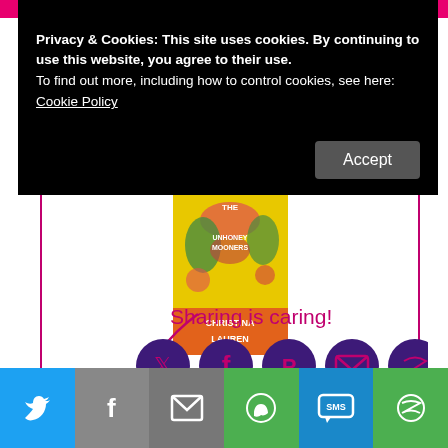Privacy & Cookies: This site uses cookies. By continuing to use this website, you agree to their use.
To find out more, including how to control cookies, see here:
Cookie Policy
Accept
[Figure (illustration): Book cover of 'The Unhoneymooners' by Christina Lauren on a yellow background with tropical fruit and foliage design]
The Unhoneymooners by Christina Lauren
Sharing is caring!
[Figure (infographic): Social sharing icons: Twitter, Facebook, Pinterest, Email, and More — dark purple circles with white icons, with a hand-drawn arrow pointing to them]
[Figure (infographic): Bottom share bar with Twitter, Facebook, Email, WhatsApp, SMS, and More icons in colored blocks]